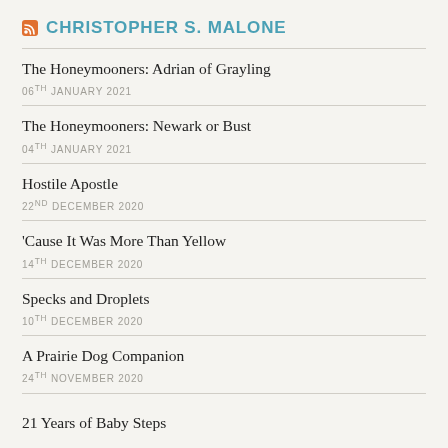CHRISTOPHER S. MALONE
The Honeymooners: Adrian of Grayling
06TH JANUARY 2021
The Honeymooners: Newark or Bust
04TH JANUARY 2021
Hostile Apostle
22ND DECEMBER 2020
'Cause It Was More Than Yellow
14TH DECEMBER 2020
Specks and Droplets
10TH DECEMBER 2020
A Prairie Dog Companion
24TH NOVEMBER 2020
21 Years of Baby Steps